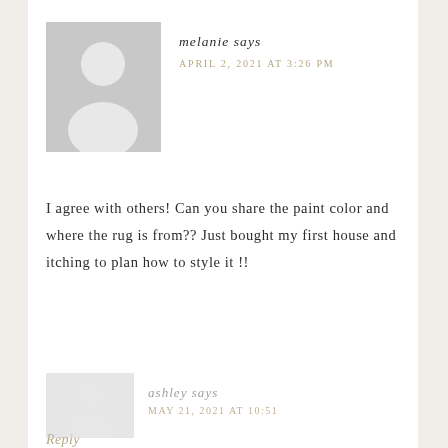[Figure (illustration): Default grey avatar placeholder image showing a silhouette of a person (head and shoulders) in grey on a lighter grey background]
melanie says
APRIL 2, 2021 AT 3:26 PM
I agree with others! Can you share the paint color and where the rug is from?? Just bought my first house and itching to plan how to style it !!
Reply
[Figure (illustration): Partially visible default grey avatar for next commenter ashley]
ashley says
MAY 21, 2021 AT 10:51